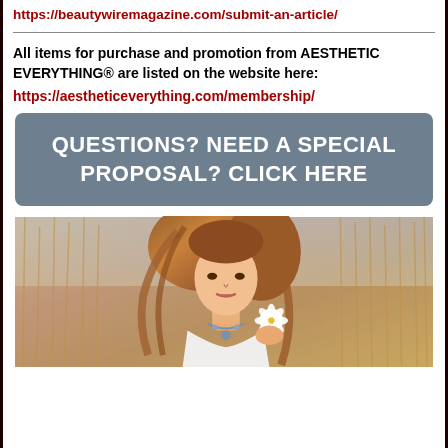https://beautywiremagazine.com/submit-an-article/
All items for purchase and promotion from AESTHETIC EVERYTHING® are listed on the website here:
https://aestheticeverything.com/membership/
[Figure (other): Dark slate-blue rounded rectangle button with white bold text: QUESTIONS? NEED A SPECIAL PROPOSAL? CLICK HERE]
[Figure (photo): Young woman with long wavy brown hair, wearing a white top and jeweled necklace, holding a white flower, photographed outdoors among dry golden grass/reeds]